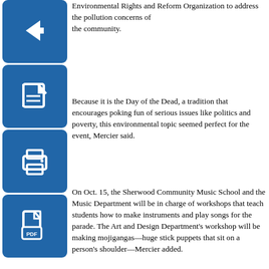Environmental Rights and Reform Organization to address the pollution concerns of the community.
[Figure (illustration): Blue square icon with a left-pointing arrow (back navigation)]
Because it is the Day of the Dead, a tradition that encourages poking fun of serious issues like politics and poverty, this environmental topic seemed perfect for the event, Mercier said.
[Figure (illustration): Blue square icon with a pencil/edit symbol]
On Oct. 15, the Sherwood Community Music School and the Music Department will be in charge of workshops that teach students how to make instruments and play songs for the parade. The Art and Design Department’s workshop will be making mojigangas—huge stick puppets that sit on a person’s shoulder—Mercier added.
[Figure (illustration): Blue square icon with a printer symbol]
[Figure (illustration): Blue square icon with a document/PDF symbol]
“The [New Student Programs] students will be in workshops so they can learn what Day of the Dead is about, but then [they will] get prepared to do a lot of hands-on activity on the day of the event,” Teruel said.
The students from New Student Programs are in charge of three things. They will work the arts and craft table the day of the event, making “papel picados,” which are intercut, Mexican paper cutouts. They will also do face painting and assist with the parade, according to Teruel.
“[New Student Programs] was looking for a way to help new students engage with their creative practice, the larger community, each other and interact in the city and have the opportunity to do some art,” said